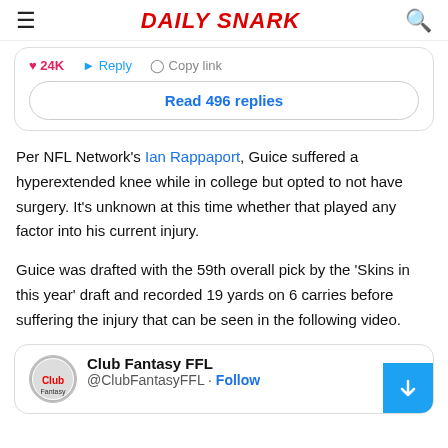Daily Snark
[Figure (screenshot): Tweet interaction bar showing like count (24K), Reply button, and Copy link button, with a 'Read 496 replies' button below]
Per NFL Network's Ian Rappaport, Guice suffered a hyperextended knee while in college but opted to not have surgery. It's unknown at this time whether that played any factor into his current injury.
Guice was drafted with the 59th overall pick by the 'Skins in this year' draft and recorded 19 yards on 6 carries before suffering the injury that can be seen in the following video.
[Figure (screenshot): Embedded tweet from Club Fantasy FFL @ClubFantasyFFL with Follow button]